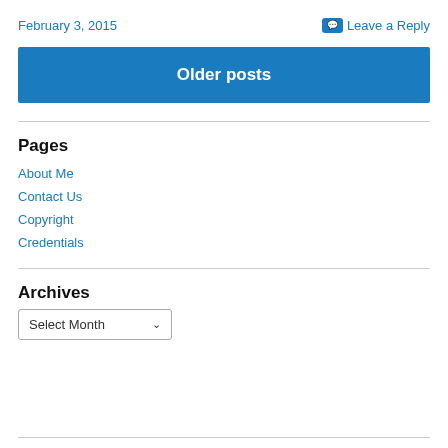February 3, 2015
Leave a Reply
Older posts
Pages
About Me
Contact Us
Copyright
Credentials
Archives
Select Month